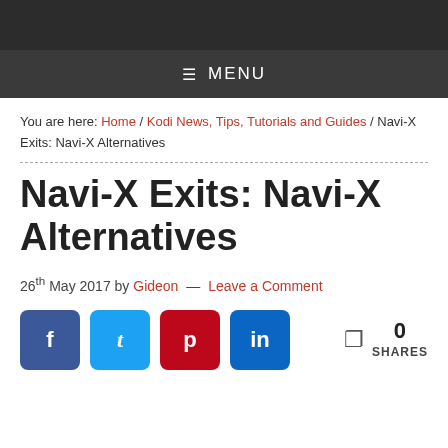MENU
You are here: Home / Kodi News, Tips, Tutorials and Guides / Navi-X Exits: Navi-X Alternatives
Navi-X Exits: Navi-X Alternatives
26th May 2017 by Gideon — Leave a Comment